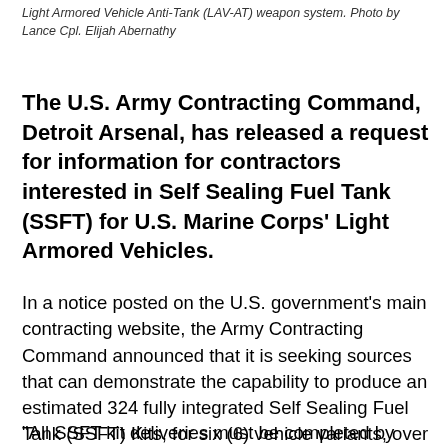Light Armored Vehicle Anti-Tank (LAV-AT) weapon system. Photo by Lance Cpl. Elijah Abernathy
The U.S. Army Contracting Command, Detroit Arsenal, has released a request for information for contractors interested in Self Sealing Fuel Tank (SSFT) for U.S. Marine Corps' Light Armored Vehicles.
In a notice posted on the U.S. government's main contracting website, the Army Contracting Command announced that it is seeking sources that can demonstrate the capability to produce an estimated 324 fully integrated Self Sealing Fuel Tank (SSFT) Kits, for six (6) vehicle variants, over a 48 month period in support of the Light Armored Vehicles (LAV) Program Manager.
"All SSFT kit deliveries must be completed by March 2025